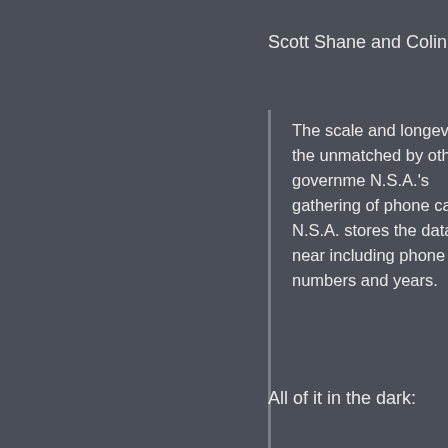Scott Shane and Colin Moynihan,
The scale and longevity of the unmatched by other governme N.S.A.'s gathering of phone ca N.S.A. stores the data for near including phone numbers and years.
Hemisphere covers every call switch — not just those made includes calls dating back 26 y training slides bearing the log National Drug Control Policy. S added to the database every d specialists say a single call ma record. Unlike the N.S.A. data, information on the locations o
All of it in the dark: